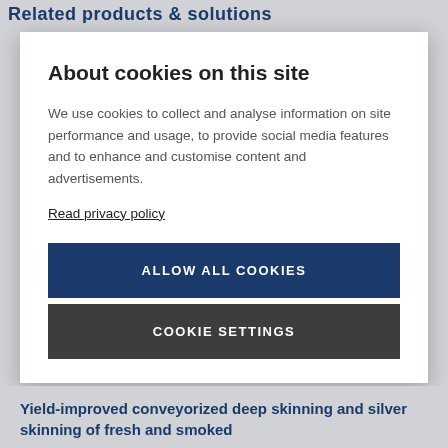Related products & solutions
About cookies on this site
We use cookies to collect and analyse information on site performance and usage, to provide social media features and to enhance and customise content and advertisements.
Read privacy policy
ALLOW ALL COOKIES
COOKIE SETTINGS
Yield-improved conveyorized deep skinning and silver skinning of fresh and smoked